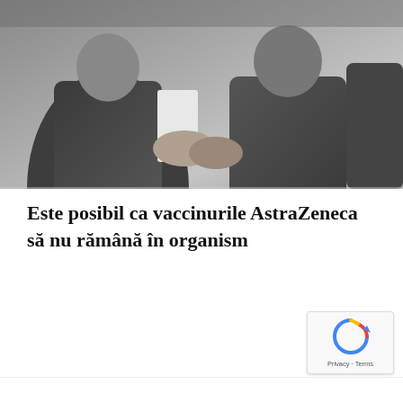[Figure (photo): Two or three people in dark suits shaking hands or standing together, viewed from chest level, grey-toned photo]
Este posibil ca vaccinurile AstraZeneca să nu rămână în organism
[Figure (other): reCAPTCHA badge with Privacy and Terms text]